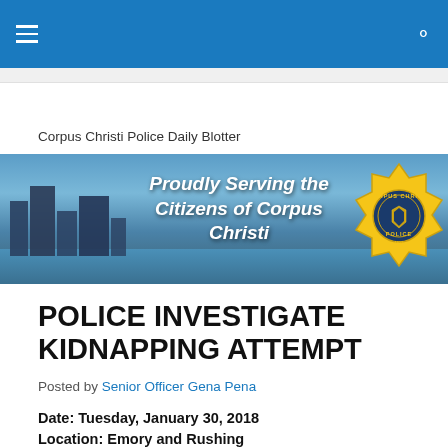Navigation bar with hamburger menu and search icon
Corpus Christi Police Daily Blotter
[Figure (photo): Corpus Christi Police Department banner showing aerial city view with text 'Proudly Serving the Citizens of Corpus Christi' and CCPD badge logo on the right]
POLICE INVESTIGATE KIDNAPPING ATTEMPT
Posted by Senior Officer Gena Pena
Date: Tuesday, January 30, 2018
Location: Emory and Rushing